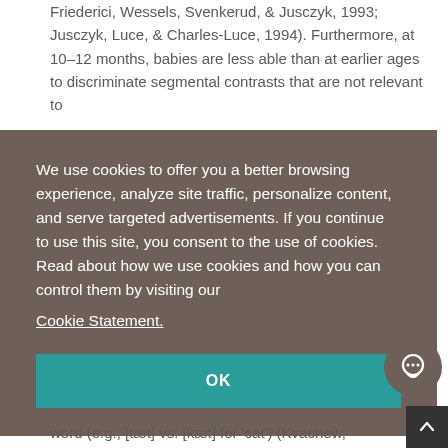Friederici, Wessels, Svenkerud, & Jusczyk, 1993; Jusczyk, Luce, & Charles-Luce, 1994). Furthermore, at 10–12 months, babies are less able than at earlier ages to discriminate segmental contrasts that are not relevant to
[Figure (screenshot): Cookie consent overlay with dark brown/taupe background. Text reads: 'We use cookies to offer you a better browsing experience, analyze site traffic, personalize content, and serve targeted advertisements. If you continue to use this site, you consent to the use of cookies. Read about how we use cookies and how you can control them by visiting our Cookie Statement.' A teal OK button at the bottom.]
word (e.g., [tæt] vs. [kæt] for 'cat') (Kvachew,